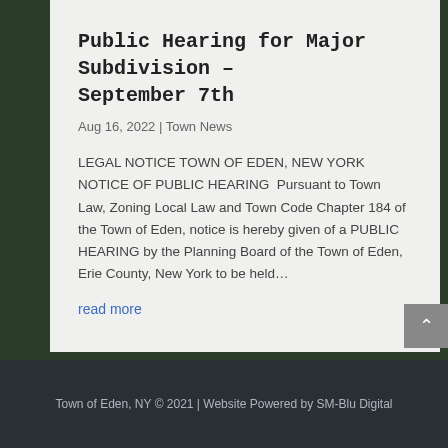Public Hearing for Major Subdivision – September 7th
Aug 16, 2022 | Town News
LEGAL NOTICE TOWN OF EDEN, NEW YORK NOTICE OF PUBLIC HEARING  Pursuant to Town Law, Zoning Local Law and Town Code Chapter 184 of the Town of Eden, notice is hereby given of a PUBLIC HEARING by the Planning Board of the Town of Eden, Erie County, New York to be held…
read more
Town of Eden, NY © 2021 | Website Powered by SM-Blu Digital